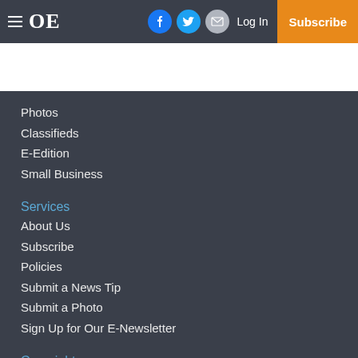≡ OE | Facebook | Twitter | Email | Log In | Subscribe
Photos
Classifieds
E-Edition
Small Business
Services
About Us
Subscribe
Policies
Submit a News Tip
Submit a Photo
Sign Up for Our E-Newsletter
Copyright
© 2022, The Oxford Eagle